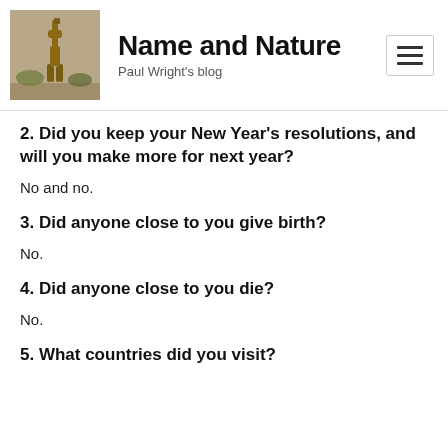Name and Nature — Paul Wright's blog
2. Did you keep your New Year's resolutions, and will you make more for next year?
No and no.
3. Did anyone close to you give birth?
No.
4. Did anyone close to you die?
No.
5. What countries did you visit?